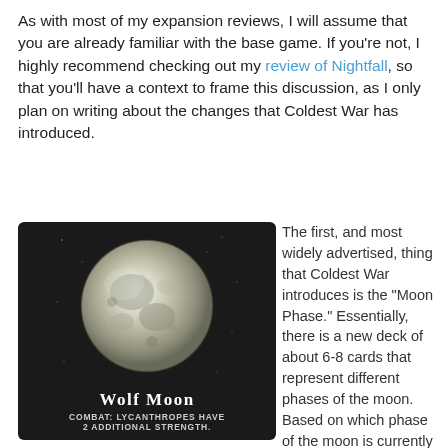As with most of my expansion reviews, I will assume that you are already familiar with the base game.  If you're not, I highly recommend checking out my review of Nightfall, so that you'll have a context to frame this discussion, as I only plan on writing about the changes that Coldest War has introduced.
[Figure (photo): A game card showing a full moon on a dark background. The card is titled 'WOLF MOON' and reads 'COMBAT: LYCANTHROPES HAVE 2 ADDITIONAL STRENGTH.']
The first, and most widely advertised, thing that Coldest War introduces is the "Moon Phase."  Essentially, there is a new deck of about 6-8 cards that represent different phases of the moon.  Based on which phase of the moon is currently active, a different global effect will occur.  Some of these will make